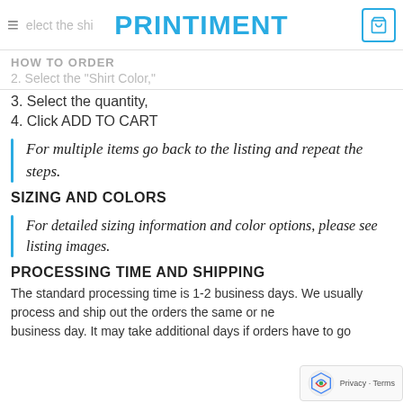HOW TO ORDER — PRINTIMENT — Cart 0
3. Select the quantity,
4. Click ADD TO CART
For multiple items go back to the listing and repeat the steps.
SIZING AND COLORS
For detailed sizing information and color options, please see listing images.
PROCESSING TIME AND SHIPPING
The standard processing time is 1-2 business days. We usually process and ship out the orders the same or next business day. It may take additional days if orders have to go…